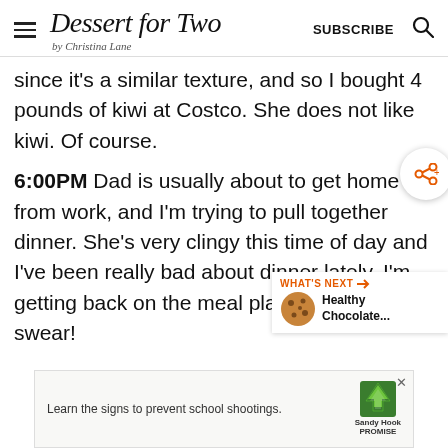Dessert for Two by Christina Lane — SUBSCRIBE
since it's a similar texture, and so I bought 4 pounds of kiwi at Costco. She does not like kiwi. Of course.
6:00PM Dad is usually about to get home from work, and I'm trying to pull together dinner. She's very clingy this time of day and I've been really bad about dinner lately. I'm getting back on the meal planning train, I swear!
[Figure (other): Share icon bubble button on right side]
[Figure (other): What's Next widget showing Healthy Chocolate... with cookie image]
[Figure (other): Sandy Hook Promise advertisement banner: Learn the signs to prevent school shootings.]